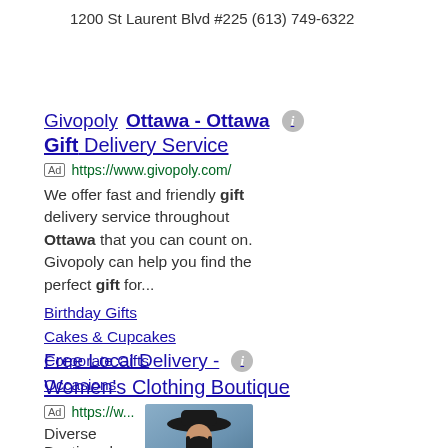1200 St Laurent Blvd #225 (613) 749-6322
Givopoly Ottawa - Ottawa Gift Delivery Service
Ad https://www.givopoly.com/
We offer fast and friendly gift delivery service throughout Ottawa that you can count on. Givopoly can help you find the perfect gift for...
Birthday Gifts
Cakes & Cupcakes
Corporate Gifts
Occasions
Free Local Delivery - Women's Clothing Boutique
Ad https://w...
Diverse Boutique has
[Figure (photo): Woman wearing a wide-brim black hat, boutique clothing advertisement photo]